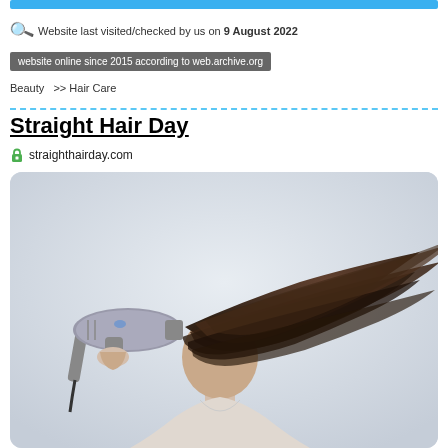Website last visited/checked by us on 9 August 2022
website online since 2015 according to web.archive.org
Beauty >> Hair Care
Straight Hair Day
straighthairday.com
[Figure (photo): A person using a hair dryer, with dark hair blowing in the wind covering their face, against a light grey-white background. The person wears a light-colored top.]